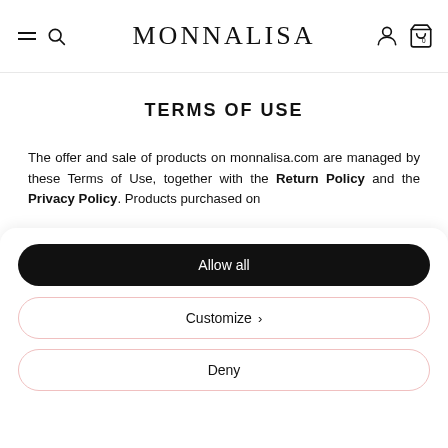MONNALISA
TERMS OF USE
The offer and sale of products on monnalisa.com are managed by these Terms of Use, together with the Return Policy and the Privacy Policy. Products purchased on
[Figure (screenshot): Cookie consent overlay with three buttons: Allow all (black), Customize (white with pink border), Deny (white with pink border)]
the Seller.
It is possible to request any information through the assistance services by contacting our Customer Care. It